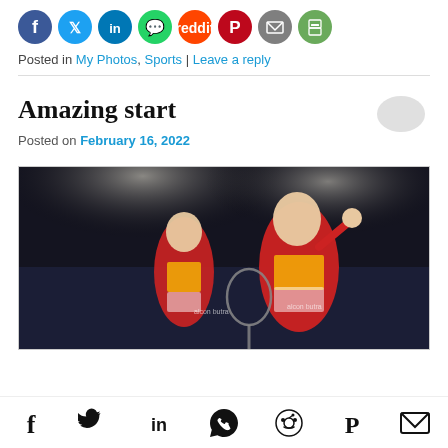[Figure (other): Social share icons row: Facebook (dark blue), Twitter (light blue), LinkedIn (blue), WhatsApp (green), Reddit (orange), Pinterest (red), Email (grey), Print (grey-green)]
Posted in My Photos, Sports | Leave a reply
[Figure (photo): Two female badminton players in red/yellow/blue uniforms celebrating enthusiastically on a badminton court. The Star newspaper watermark and GLENN GAN credit visible. Dark arena background.]
Amazing start
Posted on February 16, 2022
Footer social icons: Facebook, Twitter, LinkedIn, WhatsApp, Reddit, Pinterest, Email